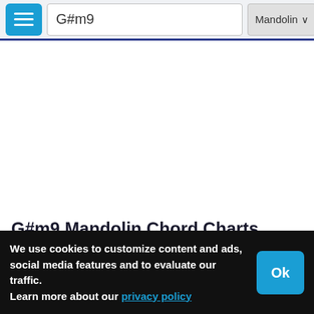G#m9 | Mandolin | Go
G#m9 Mandolin Chord Charts
(discarded 1 less important note to make it possible to form the chord)
We use cookies to customize content and ads, social media features and to evaluate our traffic. Learn more about our privacy policy